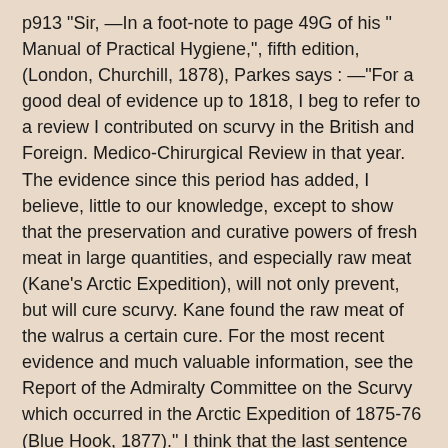p913 "Sir, —In a foot-note to page 49G of his " Manual of Practical Hygiene,", fifth edition, (London, Churchill, 1878), Parkes says : —"For a good deal of evidence up to 1818, I beg to refer to a review I contributed on scurvy in the British and Foreign. Medico-Chirurgical Review in that year. The evidence since this period has added, I believe, little to our knowledge, except to show that the preservation and curative powers of fresh meat in large quantities, and especially raw meat (Kane's Arctic Expedition), will not only prevent, but will cure scurvy. Kane found the raw meat of the walrus a certain cure. For the most recent evidence and much valuable information, see the Report of the Admiralty Committee on the Scurvy which occurred in the Arctic Expedition of 1875-76 (Blue Hook, 1877)." I think that the last sentence in the above is not Parkes' own, but that it must have been added by the editor in order to bring it up to the date of the issue of the current edition. The experience since then of the Arctic Expedition in the Eira coincides with these. I refer to that portion of the report where the author tells us that "our food consisted chiefly of War and walrus meat, mixing some of the bear's blood with the soup when